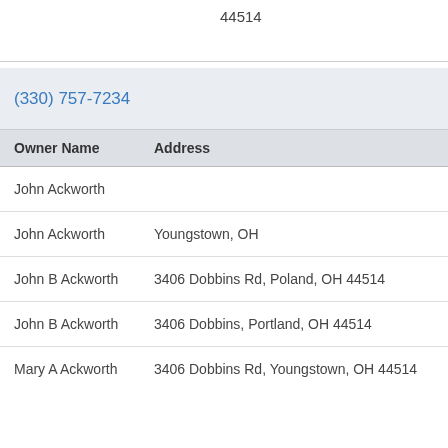44514
| Owner Name | Address |
| --- | --- |
| John Ackworth |  |
| John Ackworth | Youngstown, OH |
| John B Ackworth | 3406 Dobbins Rd, Poland, OH 44514 |
| John B Ackworth | 3406 Dobbins, Portland, OH 44514 |
| Mary A Ackworth | 3406 Dobbins Rd, Youngstown, OH 44514 |